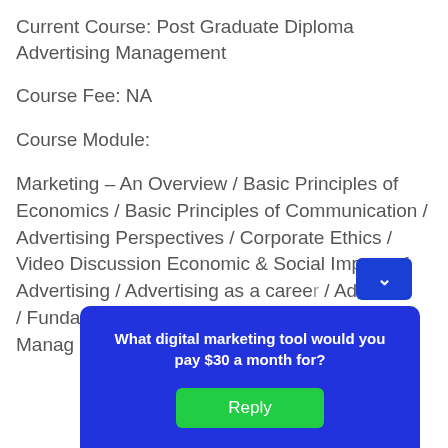Current Course: Post Graduate Diploma Advertising Management
Course Fee: NA
Course Module:
Marketing – An Overview / Basic Principles of Economics / Basic Principles of Communication / Advertising Perspectives / Corporate Ethics / Video Discussion Economic & Social Impact of Advertising / Advertising as a career / Advert… / Funda… Brand Management… nciples